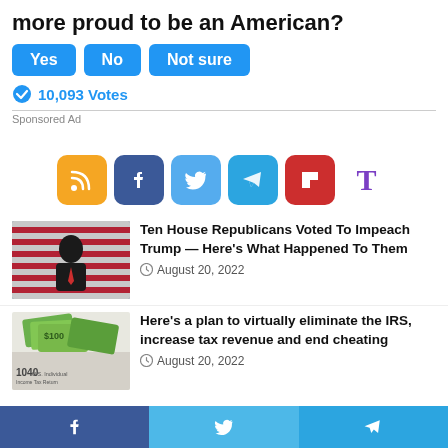more proud to be an American?
Yes
No
Not sure
10,093 Votes
Sponsored Ad
[Figure (infographic): Row of social media share icons: RSS (orange), Facebook (blue), Twitter (light blue), Telegram (blue), Flipboard (red), Tumblr (purple T)]
Ten House Republicans Voted To Impeach Trump — Here's What Happened To Them
August 20, 2022
Here's a plan to virtually eliminate the IRS, increase tax revenue and end cheating
August 20, 2022
[Figure (infographic): Bottom navigation bar with Facebook, Twitter, and Telegram share buttons]